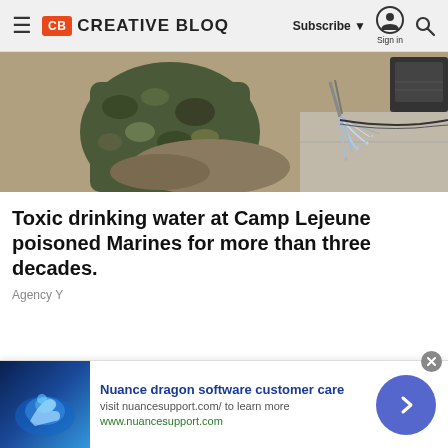CB CREATIVE BLOQ — Subscribe ▼ Sign in 🔍
[Figure (photo): Person in military camouflage uniform near water splashing from a pipe or equipment outdoors]
Toxic drinking water at Camp Lejeune poisoned Marines for more than three decades.
Agency Y
[Figure (infographic): Advertisement banner: Nuance dragon software customer care. visit nuancesupport.com/ to learn more. www.nuancesupport.com. Shows a hand touching glowing blue interface.]